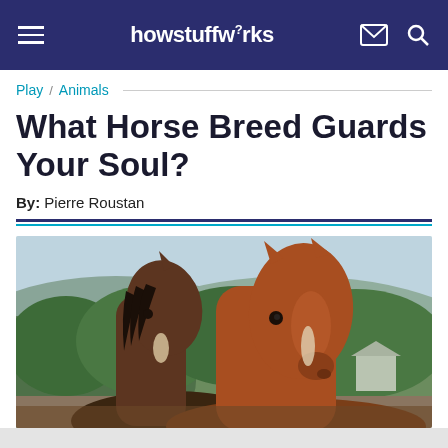howstuffworks
Play / Animals
What Horse Breed Guards Your Soul?
By: Pierre Roustan
[Figure (photo): Two brown horses standing close together with green forested hills in the background. The horse in the foreground faces slightly left and has a white blaze on its nose. The horse behind and to the right faces forward-right.]